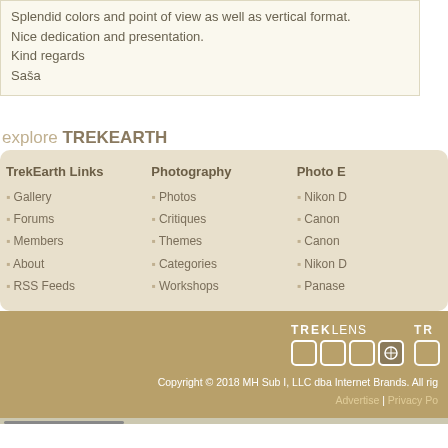Splendid colors and point of view as well as vertical format.
Nice dedication and presentation.
Kind regards
Saša
explore TREKEARTH
TrekEarth Links: Gallery, Forums, Members, About, RSS Feeds
Photography: Photos, Critiques, Themes, Categories, Workshops
Photo E[quipment]: Nikon [D...], Canon [...], Canon [...], Nikon [D...], Panase[...]
[Figure (logo): TREKLENS logo with white text and bordered squares, and a partial second TREK logo]
Copyright © 2018 MH Sub I, LLC dba Internet Brands. All rights reserved. Advertise | Privacy Po[licy]